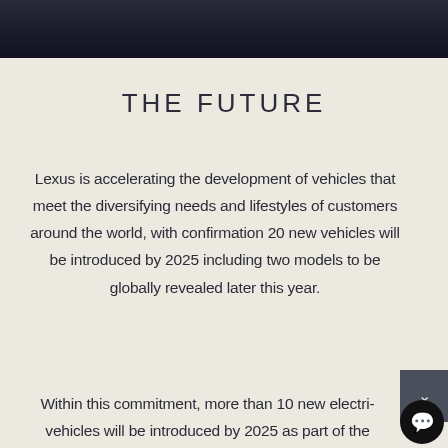[Figure (photo): Dark photograph of a Lexus vehicle, cropped to show just the top portion as a banner strip]
THE FUTURE
Lexus is accelerating the development of vehicles that meet the diversifying needs and lifestyles of customers around the world, with confirmation 20 new vehicles will be introduced by 2025 including two models to be globally revealed later this year.
Within this commitment, more than 10 new electric vehicles will be introduced by 2025 as part of the